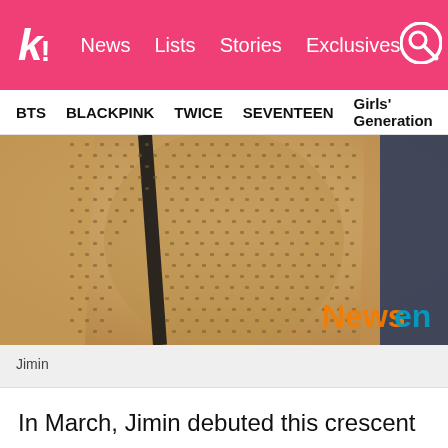Koreaboo — News · Lists · Stories · Exclusives
BTS   BLACKPINK   TWICE   SEVENTEEN   Girls' Generation
[Figure (photo): Close-up photo of a person wearing a beige/tan knit open-weave sweater with a black crossbody bag strap visible. Newsen logo watermark in bottom right corner.]
Jimin
In March, Jimin debuted this crescent moon